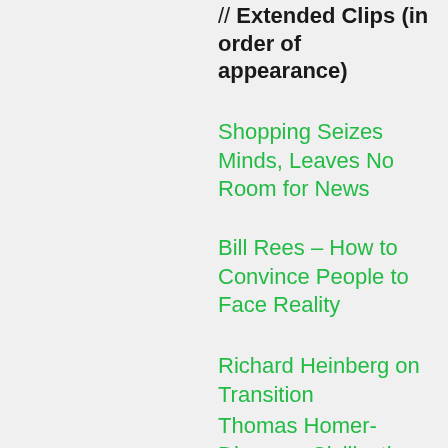// Extended Clips (in order of appearance)
Shopping Seizes Minds, Leaves No Room for News
Bill Rees – How to Convince People to Face Reality
Richard Heinberg on Transition
Thomas Homer-Dixon on Civilization Far From Equalibrium
// Additional Links
Jamie of Steppin' Off the Edge interviews KMO and Justin about collapse
(more...)